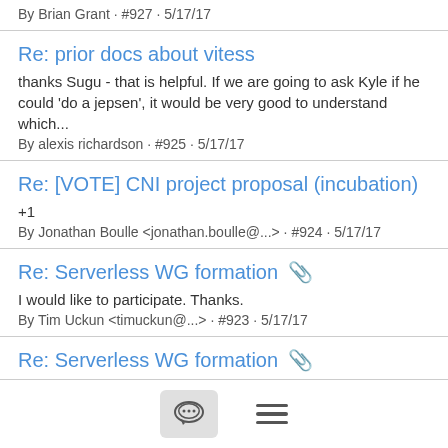By Brian Grant · #927 · 5/17/17
Re: prior docs about vitess
thanks Sugu - that is helpful. If we are going to ask Kyle if he could 'do a jepsen', it would be very good to understand which...
By alexis richardson · #925 · 5/17/17
Re: [VOTE] CNI project proposal (incubation)
+1
By Jonathan Boulle <jonathan.boulle@...> · #924 · 5/17/17
Re: Serverless WG formation 📎
I would like to participate. Thanks.
By Tim Uckun <timuckun@...> · #923 · 5/17/17
Re: Serverless WG formation 📎
+1 This is great! Hyper.sh also built hyper func fully based on Kubernetes, and cooperating with IBM Whisk. Hope to be...
By Harry Zhang <harryz@...> · #926 · 5/17/17
[Figure (infographic): Bottom navigation bar with chat bubble icon button and hamburger menu icon]